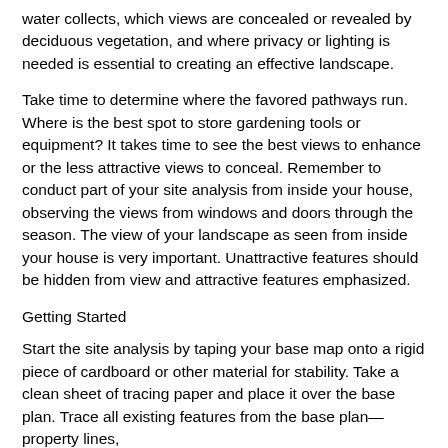water collects, which views are concealed or revealed by deciduous vegetation, and where privacy or lighting is needed is essential to creating an effective landscape.
Take time to determine where the favored pathways run. Where is the best spot to store gardening tools or equipment? It takes time to see the best views to enhance or the less attractive views to conceal. Remember to conduct part of your site analysis from inside your house, observing the views from windows and doors through the season. The view of your landscape as seen from inside your house is very important. Unattractive features should be hidden from view and attractive features emphasized.
Getting Started
Start the site analysis by taping your base map onto a rigid piece of cardboard or other material for stability. Take a clean sheet of tracing paper and place it over the base plan. Trace all existing features from the base plan—property lines,